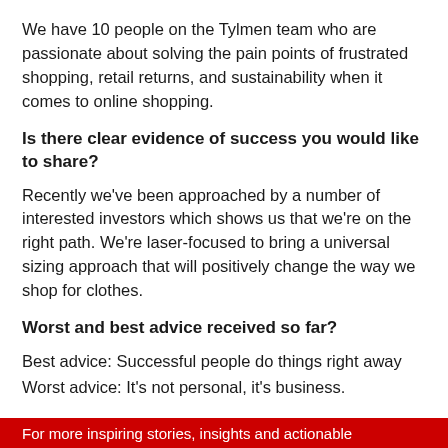We have 10 people on the Tylmen team who are passionate about solving the pain points of frustrated shopping, retail returns, and sustainability when it comes to online shopping.
Is there clear evidence of success you would like to share?
Recently we’ve been approached by a number of interested investors which shows us that we’re on the right path. We’re laser-focused to bring a universal sizing approach that will positively change the way we shop for clothes.
Worst and best advice received so far?
Best advice: Successful people do things right away
Worst advice: It’s not personal, it’s business.
For more inspiring stories, insights and actionable